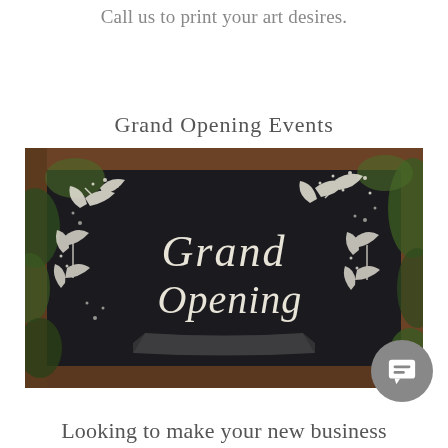Call us to print your art desires.
Grand Opening Events
[Figure (photo): A chalkboard sign with cursive handwritten text reading 'Grand Opening', decorated with chalk-drawn floral and leaf motifs, framed in dark wood, with green foliage visible in the background.]
Looking to make your new business